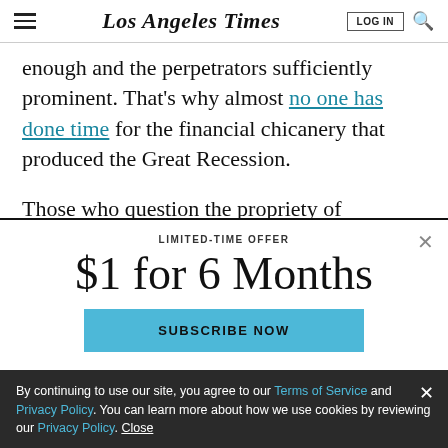Los Angeles Times — LOG IN [search]
enough and the perpetrators sufficiently prominent. That's why almost no one has done time for the financial chicanery that produced the Great Recession.
Those who question the propriety of subjecting Trump
LIMITED-TIME OFFER
$1 for 6 Months
SUBSCRIBE NOW
By continuing to use our site, you agree to our Terms of Service and Privacy Policy. You can learn more about how we use cookies by reviewing our Privacy Policy. Close